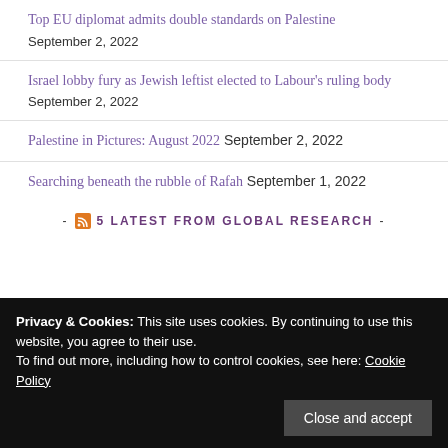Top EU diplomat admits double standards on Palestine
September 2, 2022
Israel lobby fury as Jewish leftist elected to Labour's ruling body
September 2, 2022
Palestine in Pictures: August 2022 September 2, 2022
Searching beneath the rubble of Rafah September 1, 2022
- 5 LATEST FROM GLOBAL RESEARCH -
Privacy & Cookies: This site uses cookies. By continuing to use this website, you agree to their use.
To find out more, including how to control cookies, see here: Cookie Policy